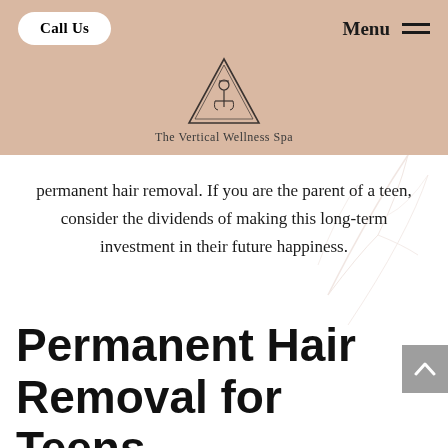Call Us | Menu
[Figure (logo): The Vertical Wellness Spa logo — triangle with anchor/figure inside, text below reading 'The Vertical Wellness Spa']
permanent hair removal. If you are the parent of a teen, consider the dividends of making this long-term investment in their future happiness.
Permanent Hair Removal for Teens
Especially for teenagers, who have things like acne to worry about on their faces, we don't recommend other